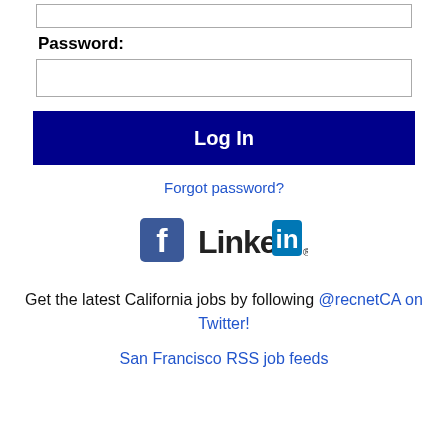[Figure (screenshot): Partial input field at top of page (cropped)]
Password:
[Figure (screenshot): Password input field]
Log In
Forgot password?
[Figure (logo): Facebook and LinkedIn logos side by side]
Get the latest California jobs by following @recnetCA on Twitter!
San Francisco RSS job feeds